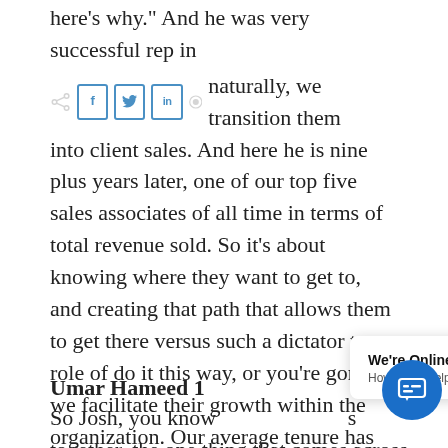here's why." And he was very successful rep in the naturally, we transition them into client sales. And here he is nine plus years later, one of our top five sales associates of all time in terms of total revenue sold. So it's about knowing where they want to get to, and creating that path that allows them to get there versus such a dictator type role of do it this way, or you're gone, we facilitate their growth within the organization. Our average tenure has grown significantly, that proves that theory out.
Umar Hameed 13:53
So Josh, you know as we put this together, the one thing that comes across is, you